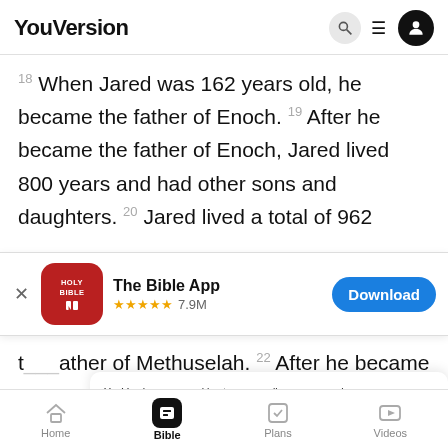YouVersion
18 When Jared was 162 years old, he became the father of Enoch. 19 After he became the father of Enoch, Jared lived 800 years and had other sons and daughters. 20 Jared lived a total of 962
[Figure (screenshot): App store banner for The Bible App showing Holy Bible icon, 5-star rating 7.9M reviews, and Download button]
t...ather of Methuselah. 22 After he became father of ... 300 years and had other sons and daughters.
YouVersion uses cookies to personalize your experience. By using our website, you accept our use of cookies as described in our Privacy Policy.
Home  Bible  Plans  Videos